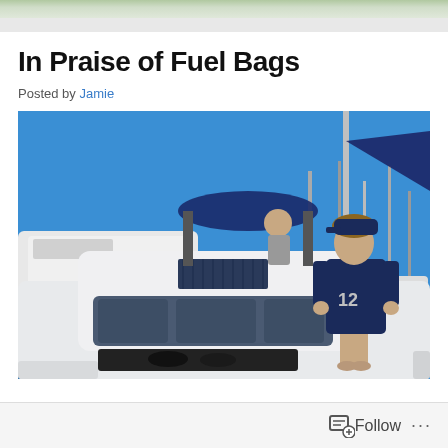In Praise of Fuel Bags
Posted by Jamie
[Figure (photo): A young person wearing a navy #12 sports jersey standing on the deck of a white catamaran sailboat at a marina, with other boats and blue sky in the background.]